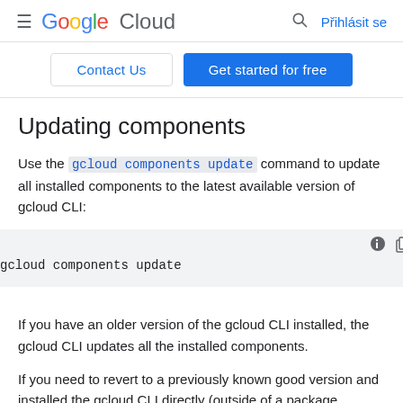Google Cloud   Přihlásit se
Contact Us   Get started for free
Updating components
Use the gcloud components update command to update all installed components to the latest available version of gcloud CLI:
[Figure (screenshot): Code block showing: gcloud components update]
If you have an older version of the gcloud CLI installed, the gcloud CLI updates all the installed components.
If you need to revert to a previously known good version and installed the gcloud CLI directly (outside of a package